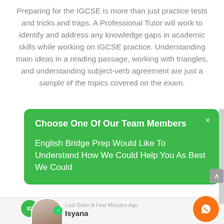Preparing for the IGCSE is more than just practice tests and tricks and traps. A Professional Tutor will work to identify and address any knowledge gaps in academic skills while working on IGCSE practice. Understanding main ideas in a reading passage, working with triangles, and understanding subject-verb agreement are just a sample of the topics covered on the exam.
Choose One Of Our Team Members
English Bridge Prep Would Like To Understand How We Could Help You As Best We Could
Last Seen A Few Minutes Ago
Isyana